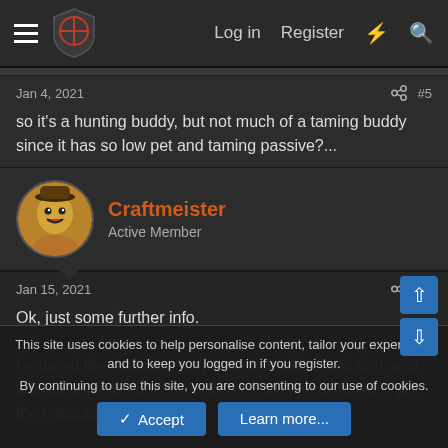Log in  Register
Jan 4, 2021  #5
so it's a hunting buddy, but not much of a taming buddy since it has so low pet and taming passive?...
Craftmeister
Active Member
Jan 15, 2021  #6
Ok, just some further info.

I entered the instance, prepared with whips and ring, and started taming. I am currently a lvl 13 Animal Tamer. I got the message
This site uses cookies to help personalise content, tailor your experience and to keep you logged in if you register.
By continuing to use this site, you are consenting to our use of cookies.